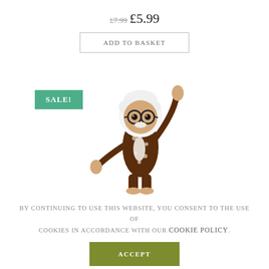£7.99 £5.99
ADD TO BASKET
[Figure (photo): A small articulated wooden toy figure of an elderly gentleman with white hair and glasses, wearing a brown polka-dot suit with a red bow tie, posed with one arm raised. A green 'SALE!' badge overlays the top-left area of the image.]
By continuing to use this website, you consent to the use of cookies in accordance with our Cookie Policy.
ACCEPT